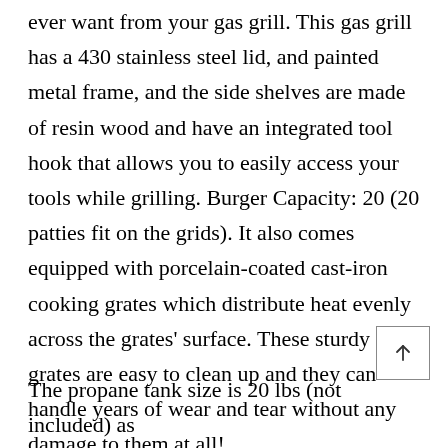100 square inches it has everything you could ever want from your gas grill. This gas grill has a 430 stainless steel lid, and painted metal frame, and the side shelves are made of resin wood and have an integrated tool hook that allows you to easily access your tools while grilling. Burger Capacity: 20 (20 patties fit on the grids). It also comes equipped with porcelain-coated cast-iron cooking grates which distribute heat evenly across the grates' surface. These sturdy grates are easy to clean up and they can handle years of wear and tear without any damage to them at all!
The propane tank size is 20 lbs (not included) as